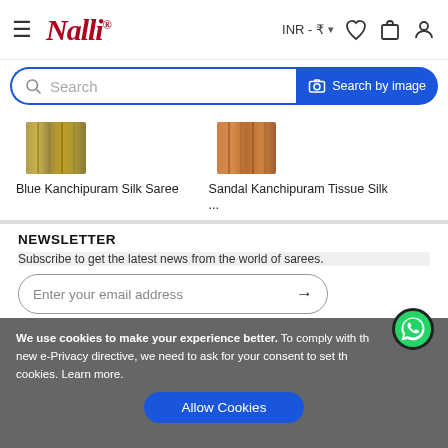Nalli — INR ₹
[Figure (screenshot): Search bar with blue border and 'Search by image' button]
[Figure (photo): Blue Kanchipuram Silk Saree thumbnail]
Blue Kanchipuram Silk Saree
[Figure (photo): Sandal Kanchipuram Tissue Silk thumbnail]
Sandal Kanchipuram Tissue Silk ...
NEWSLETTER
Subscribe to get the latest news from the world of sarees.
Enter your email address →
QUICK LINKS
We use cookies to make your experience better. To comply with the new e-Privacy directive, we need to ask for your consent to set the cookies. Learn more.
Allow Cookies